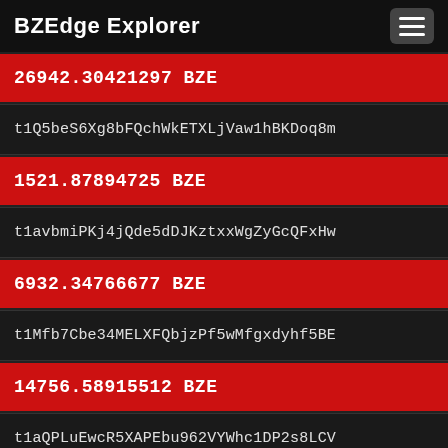BZEdge Explorer
26942.30421297 BZE
t1Q5beS6Xg8bFQchWkETXLjVaw1hBKDoq8m
1521.87894725 BZE
t1avbmiPKj4jQde5dDJKztxxWgZyGcQFxHw
6932.34766677 BZE
t1Mfb7Cbe34MELXFQbjzPf5wMfgxdyhf5BE
14756.58915512 BZE
t1aQPLuEwcR5XAPEbu962VYWhc1DP2s8LCV
12699.52393495 BZE
t1XKQBNxVheiVB15635kxgm4kQRKTLcmADE
16830.27030631 BZE